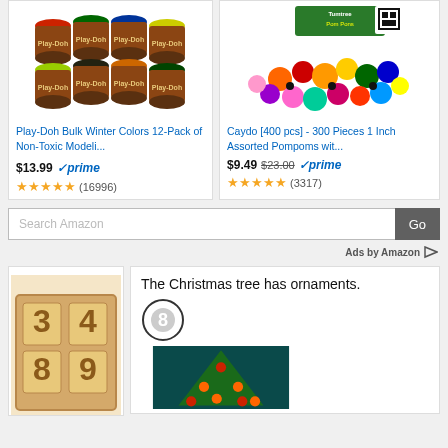[Figure (photo): Play-Doh Bulk Winter Colors 12-Pack of Non-Toxic Modeling Compound product image showing multiple colorful cans]
[Figure (photo): Caydo 400 pcs 300 Pieces 1 Inch Assorted Pompoms product image showing colorful pom pom balls]
Play-Doh Bulk Winter Colors 12-Pack of Non-Toxic Modeli...
$13.99 prime (16996 reviews, 4.5 stars)
Caydo [400 pcs] - 300 Pieces 1 Inch Assorted Pompoms wit...
$9.49 $23.00 prime (3317 reviews, 4.5 stars)
Search Amazon
Ads by Amazon
[Figure (photo): Wooden number tiles showing digits 3, 4, 8, 9]
[Figure (photo): Educational image showing Christmas tree with ornaments and the text: The Christmas tree has ornaments. with a circle containing number 8]